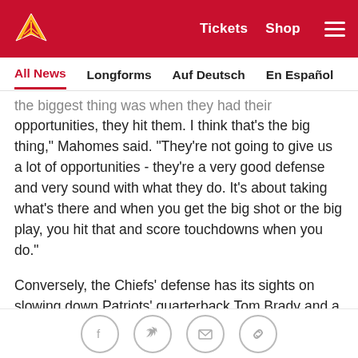[Figure (logo): Kansas City Chiefs website header with red background, Chiefs logo on left, Tickets and Shop links and hamburger menu on right]
All News  Longforms  Auf Deutsch  En Español
...the biggest thing was when they had their opportunities, they hit them. I think that's the big thing," Mahomes said. "They're not going to give us a lot of opportunities - they're a very good defense and very sound with what they do. It's about taking what's there and when you get the big shot or the big play, you hit that and score touchdowns when you do."
Conversely, the Chiefs' defense has its sights on slowing down Patriots' quarterback Tom Brady and a New England attack that's struggled of late. In fact, the Patriots are averaging just 18 points-per-game over their last four contests and have been outscored by
[Figure (other): Social sharing icons: Facebook, Twitter, Email, Link]